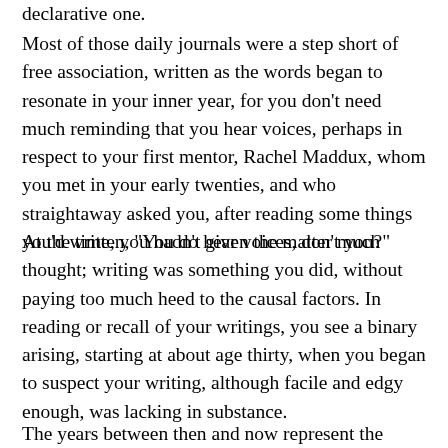declarative one.
Most of those daily journals were a step short of free association, written as the words began to resonate in your inner year, for you don't need much reminding that you hear voices, perhaps in respect to your first mentor, Rachel Maddux, whom you met in your early twenties, and who straightaway asked you, after reading some things you'd written, "You do hear voices, don't you?"
At the time, you hadn't given the matter much thought; writing was something you did, without paying too much heed to the causal factors. In reading or recall of your writings, you see a binary arising, starting at about age thirty, when you began to suspect your writing, although facile and edgy enough, was lacking in substance.
The years between then and now represent the